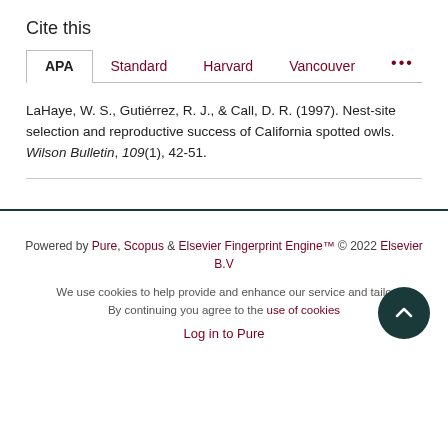Cite this
APA | Standard | Harvard | Vancouver | ...
LaHaye, W. S., Gutiérrez, R. J., & Call, D. R. (1997). Nest-site selection and reproductive success of California spotted owls. Wilson Bulletin, 109(1), 42-51.
Powered by Pure, Scopus & Elsevier Fingerprint Engine™ © 2022 Elsevier B.V
We use cookies to help provide and enhance our service and tailor content. By continuing you agree to the use of cookies
Log in to Pure